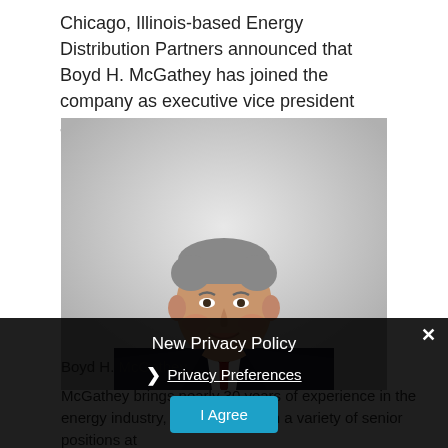Chicago, Illinois-based Energy Distribution Partners announced that Boyd H. McGathey has joined the company as executive vice president and chief operating officer.
[Figure (photo): Professional headshot of Boyd H. McGathey, a middle-aged man in a dark suit with a red tie, smiling, against a light gray gradient background.]
Boyd H. McGathey
McGathey brings nearly 30 years of experience in the energy industry, having served in a variety of senior positions at
New Privacy Policy
❯ Privacy Preferences
I Agree